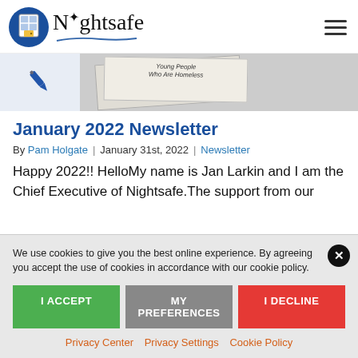Nightsafe
[Figure (screenshot): Banner with pen icon on left and newspaper clipping about young people who are homeless on right]
January 2022 Newsletter
By Pam Holgate | January 31st, 2022 | Newsletter
Happy 2022!! HelloMy name is Jan Larkin and I am the Chief Executive of Nightsafe.The support from our
We use cookies to give you the best online experience. By agreeing you accept the use of cookies in accordance with our cookie policy.
I ACCEPT   MY PREFERENCES   I DECLINE
Privacy Center   Privacy Settings   Cookie Policy